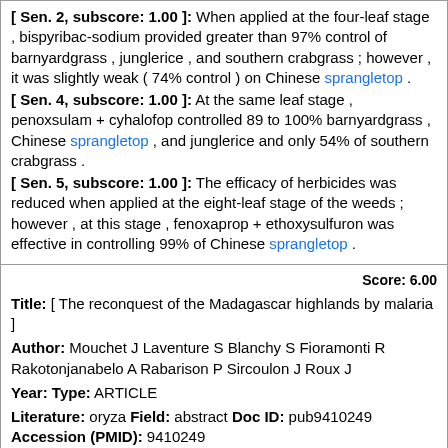[ Sen. 2, subscore: 1.00 ]: When applied at the four-leaf stage , bispyribac-sodium provided greater than 97% control of barnyardgrass , junglerice , and southern crabgrass ; however , it was slightly weak ( 74% control ) on Chinese sprangletop .
[ Sen. 4, subscore: 1.00 ]: At the same leaf stage , penoxsulam + cyhalofop controlled 89 to 100% barnyardgrass , Chinese sprangletop , and junglerice and only 54% of southern crabgrass .
[ Sen. 5, subscore: 1.00 ]: The efficacy of herbicides was reduced when applied at the eight-leaf stage of the weeds ; however , at this stage , fenoxaprop + ethoxysulfuron was effective in controlling 99% of Chinese sprangletop .
Score: 6.00
Title: [ The reconquest of the Madagascar highlands by malaria ]
Author: Mouchet J Laventure S Blanchy S Fioramonti R Rakotonjanabelo A Rabarison P Sircoulon J Roux J
Year: Type: ARTICLE
Literature: oryza Field: abstract Doc ID: pub9410249 Accession (PMID): 9410249
Matching Sentences:
[ Sen. 9, subscore: 1.00 ]: In 1949 a malaria eradication programme based on DDT spraying and drug chemoprophylaxis and chemotherapy was launched .
[ Sen. 10, subscore: 1.00 ]: By 1960 malaria was eliminated and DDT spraying cancelled .
[ Sen. 11, subscore: 1.00 ]: Only 3 foci were kept under surveillance with irregular spraying until 1975 .
[ Sen. 16, subscore: 1.00 ]: They show that malaria was already present on the highlands in 1871 but strains were absent in 1900 ...